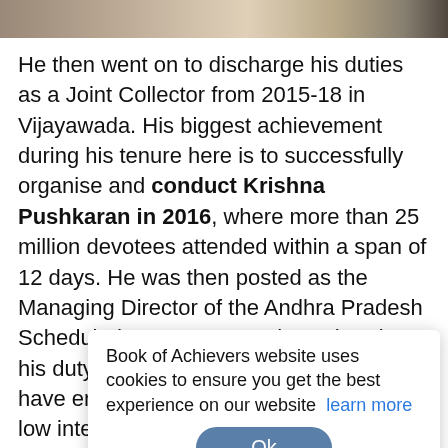[Figure (photo): Photo strip at the top showing people, partially cropped]
He then went on to discharge his duties as a Joint Collector from 2015-18 in Vijayawada. His biggest achievement during his tenure here is to successfully organise and conduct Krishna Pushkaran in 2016, where more than 25 million devotees attended within a span of 12 days. He was then posted as the Managing Director of the Andhra Pradesh Scheduled Caste Corporation, wherein his duty is to make sure that those who have entrepreneurial capacity were given low interest loans ranging from Rs 1 lakh to Rs 45 lakh to [obscured by popup] cu[obscured]ct Co[obscured] gre[obscured] afforestation drive. His duty also includes raising the economic potential of the region as the region
Book of Achievers website uses cookies to ensure you get the best experience on our website  learn more
Ok